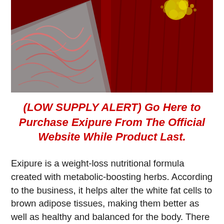[Figure (photo): Close-up microscopic or artistic image showing red and dark crimson textured surfaces with pink/salmon colored vein-like structures on a grey triangular shape, and a yellow speckled patch in the upper right corner. Likely a stylized image of biological tissue (brown adipose tissue / BAT).]
(LOW SUPPLY ALERT) Go Here to Purchase Exipure From The Official Website While Product Last.
Exipure is a weight-loss nutritional formula created with metabolic-boosting herbs. According to the business, it helps alter the white fat cells to brown adipose tissues, making them better as well as healthy and balanced for the body. There is a lot of scientific proof recommending BAT is related to